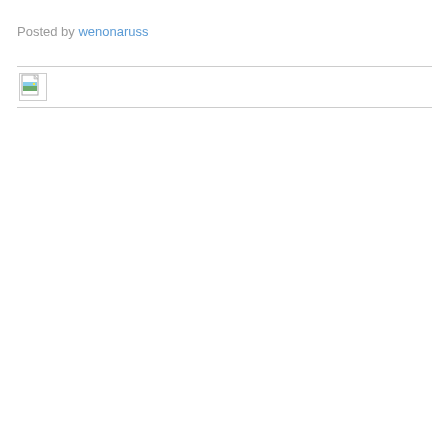Posted by wenonaruss
[Figure (photo): Broken/unloaded image placeholder with a small document icon showing a green landscape thumbnail, inside a bordered container]